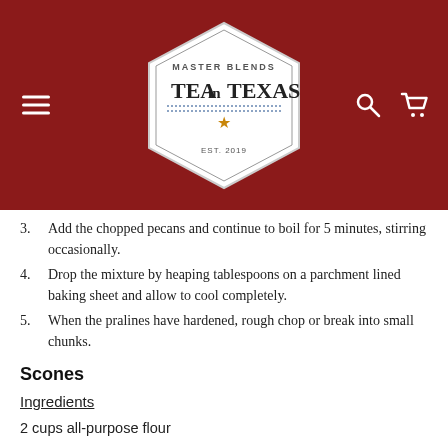TEAinTEXAS Master Blends Est. 2019
3. Add the chopped pecans and continue to boil for 5 minutes, stirring occasionally.
4. Drop the mixture by heaping tablespoons on a parchment lined baking sheet and allow to cool completely.
5. When the pralines have hardened, rough chop or break into small chunks.
Scones
Ingredients
2 cups all-purpose flour
1 tablespoon baking powder
½ teaspoon salt